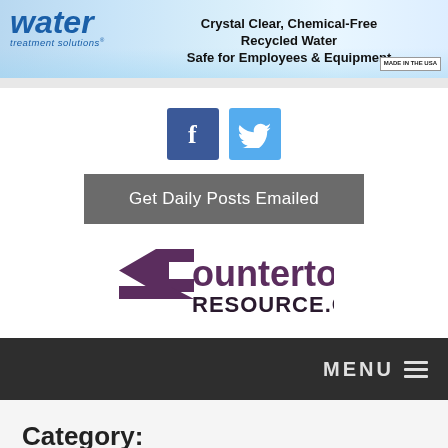[Figure (screenshot): Water Treatment Solutions banner advertisement with blue water background. Features 'water treatment solutions' logo on left and tagline 'Crystal Clear, Chemical-Free Recycled Water Safe for Employees & Equipment' on right with Made in the USA badge.]
[Figure (logo): Facebook and Twitter social media icon buttons in blue square boxes]
Get Daily Posts Emailed
[Figure (logo): Countertop Resource.com logo with purple geometric C shape]
MENU
Category: